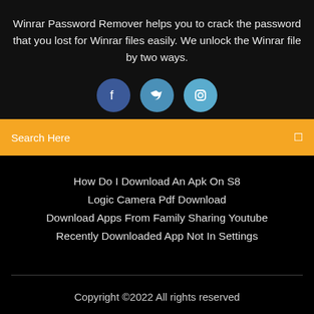Winrar Password Remover helps you to crack the password that you lost for Winrar files easily. We unlock the Winrar file by two ways.
[Figure (infographic): Three social media circular icon buttons: Facebook (dark blue), Twitter (medium blue), Instagram (light blue)]
Search Here
How Do I Download An Apk On S8
Logic Camera Pdf Download
Download Apps From Family Sharing Youtube
Recently Downloaded App Not In Settings
Copyright ©2022 All rights reserved